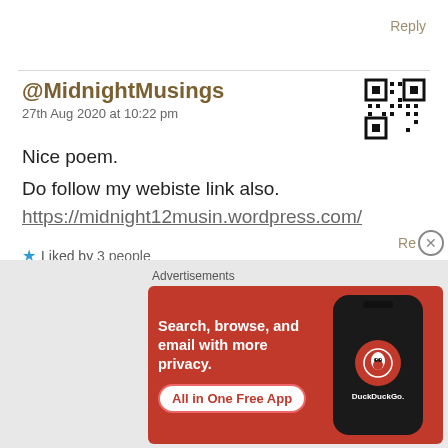Reply
@MidnightMusings
27th Aug 2020 at 10:22 pm
[Figure (other): QR code avatar for MidnightMusings]
Nice poem.
Do follow my webiste link also.
https://midnight12musin.wordpress.com/
Liked by 3 people
Advertisements
[Figure (other): DuckDuckGo advertisement banner: Search, browse, and email with more privacy. All in One Free App.]